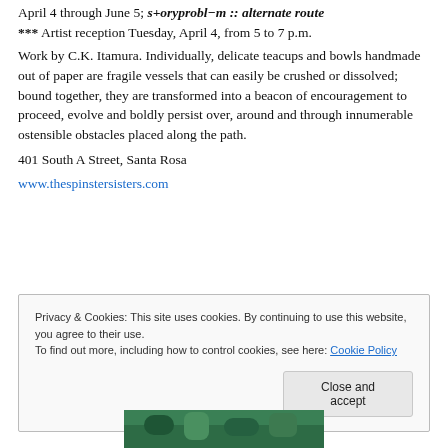April 4 through June 5; s+oryprobl−m :: alternate route
*** Artist reception Tuesday, April 4, from 5 to 7 p.m.
Work by C.K. Itamura. Individually, delicate teacups and bowls handmade out of paper are fragile vessels that can easily be crushed or dissolved; bound together, they are transformed into a beacon of encouragement to proceed, evolve and boldly persist over, around and through innumerable ostensible obstacles placed along the path.
401 South A Street, Santa Rosa
www.thespinstersisters.com
Privacy & Cookies: This site uses cookies. By continuing to use this website, you agree to their use.
To find out more, including how to control cookies, see here: Cookie Policy
Close and accept